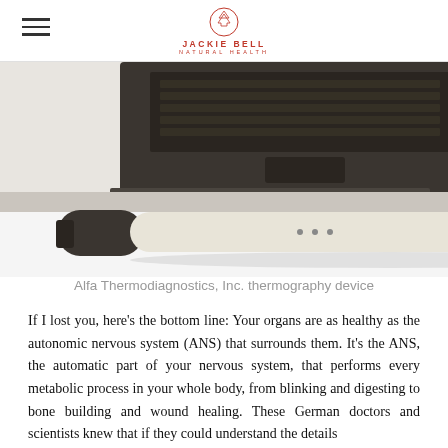JACKIE BELL NATURAL HEALTH
[Figure (photo): Photo showing a laptop keyboard in the upper portion and an Alfa Thermodiagnostics, Inc. thermography device (white and dark elongated handheld scanner) in the lower portion.]
Alfa Thermodiagnostics, Inc. thermography device
If I lost you, here's the bottom line: Your organs are as healthy as the autonomic nervous system (ANS) that surrounds them. It's the ANS, the automatic part of your nervous system, that performs every metabolic process in your whole body, from blinking and digesting to bone building and wound healing. These German doctors and scientists knew that if they could understand the details